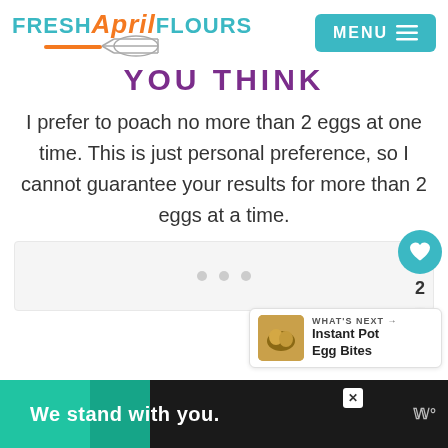FRESH April FLOURS — MENU
YOU THINK
I prefer to poach no more than 2 eggs at one time. This is just personal preference, so I cannot guarantee your results for more than 2 eggs at a time.
[Figure (screenshot): Gray placeholder ad box with three gray dots]
[Figure (screenshot): What's Next panel with Instant Pot Egg Bites thumbnail]
We stand with you.